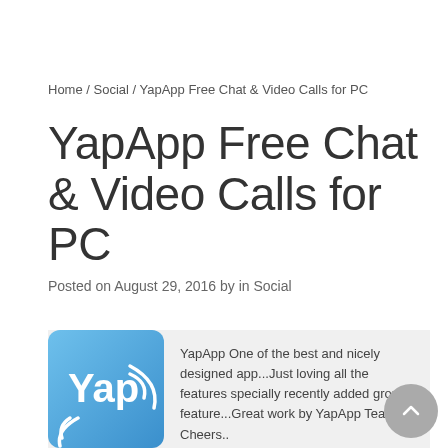Home / Social / YapApp Free Chat & Video Calls for PC
YapApp Free Chat & Video Calls for PC
Posted on August 29, 2016 by in Social
[Figure (logo): YapApp logo — blue rounded square with white 'Yap' text and speech bubble arcs]
YapApp One of the best and nicely designed app...Just loving all the features specially recently added groups feature...Great work by YapApp Team!!! Cheers..